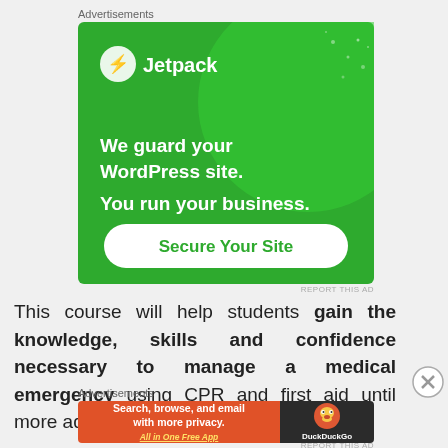Advertisements
[Figure (screenshot): Jetpack advertisement banner — green background with circular decorative element, Jetpack logo (lightning bolt in circle) top left, white bold text: 'We guard your WordPress site. You run your business.' with a white rounded button 'Secure Your Site' in green text]
REPORT THIS AD
This course will help students gain the knowledge, skills and confidence necessary to manage a medical emergency using CPR and first aid until more advance
Advertisements
[Figure (screenshot): DuckDuckGo advertisement banner — left orange section with white bold text 'Search, browse, and email with more privacy.' and underlined italic yellow text 'All in One Free App'; right dark section with DuckDuckGo duck logo and text 'DuckDuckGo']
REPORT THIS AD